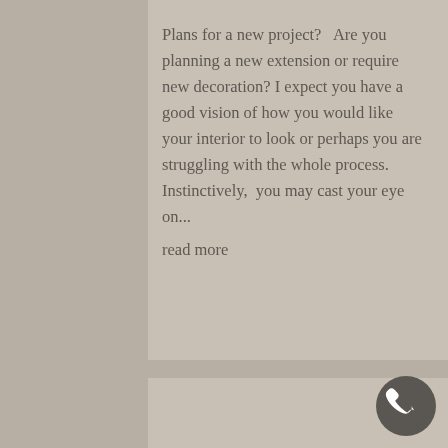Plans for a new project?  Are you planning a new extension or require new decoration? I expect you have a good vision of how you would like your interior to look or perhaps you are struggling with the whole process. Instinctively,  you may cast your eye on... read more
[Figure (other): Round dark grey phone/call button icon in bottom right corner]